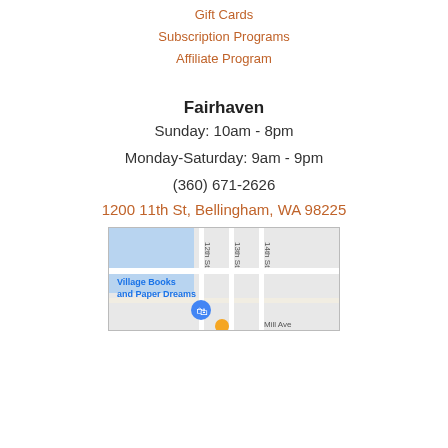Gift Cards
Subscription Programs
Affiliate Program
Fairhaven
Sunday: 10am - 8pm
Monday-Saturday: 9am - 9pm
(360) 671-2626
1200 11th St, Bellingham, WA 98225
[Figure (map): Google Maps screenshot showing Village Books and Paper Dreams location near 12th St, 13th St, 14th St, and Mill Ave in Bellingham, WA]